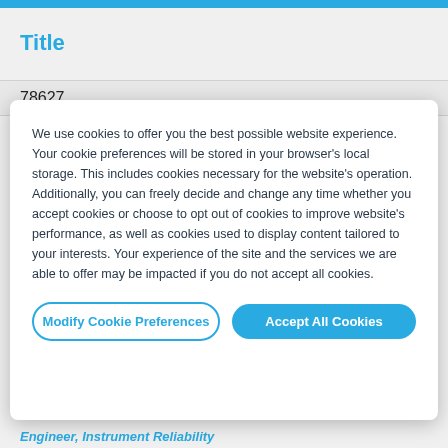Title
78627
We use cookies to offer you the best possible website experience. Your cookie preferences will be stored in your browser's local storage. This includes cookies necessary for the website's operation. Additionally, you can freely decide and change any time whether you accept cookies or choose to opt out of cookies to improve website's performance, as well as cookies used to display content tailored to your interests. Your experience of the site and the services we are able to offer may be impacted if you do not accept all cookies.
Modify Cookie Preferences
Accept All Cookies
Engineer, Instrument Reliability